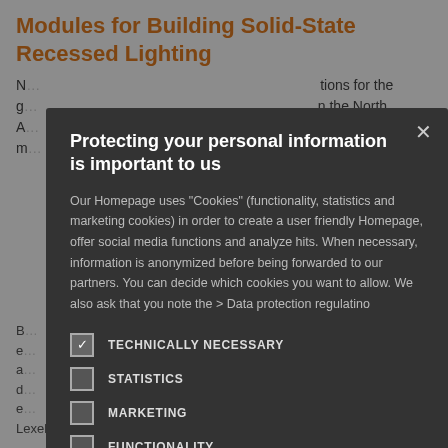Modules for Building Solid-State Recessed Lighting
…tions for the g… …n the North A… …downlight m…
[Figure (screenshot): Cookie consent modal dialog with title 'Protecting your personal information is important to us', body text about cookie usage, and four checkbox options: TECHNICALLY NECESSARY (checked), STATISTICS (unchecked), MARKETING (unchecked), FUNCTIONALITY (unchecked). Modal has a close X button in top right corner.]
B… …power systems, e… …o the architectural a… …ite and tunable d… …ially reduce e… …ared to CFL and Lexel modules can deliver perfectly controllable illumination.